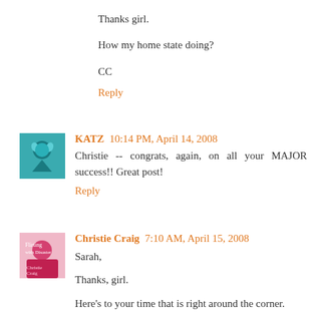Thanks girl.

How my home state doing?

CC
Reply
KATZ  10:14 PM, April 14, 2008
Christie -- congrats, again, on all your MAJOR success!! Great post!
Reply
Christie Craig  7:10 AM, April 15, 2008
Sarah,

Thanks, girl.

Here's to your time that is right around the corner.